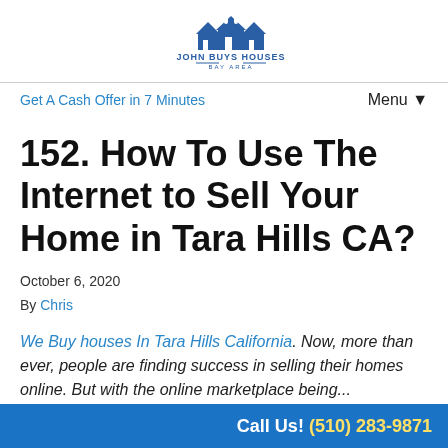[Figure (logo): John Buys Houses Bay Area logo with house and people icon]
Get A Cash Offer in 7 Minutes   Menu ▼
152. How To Use The Internet to Sell Your Home in Tara Hills CA?
October 6, 2020
By Chris
We Buy houses In Tara Hills California. Now, more than ever, people are finding success in selling their homes online. But with the online marketplace being...
Call Us! (510) 283-9871